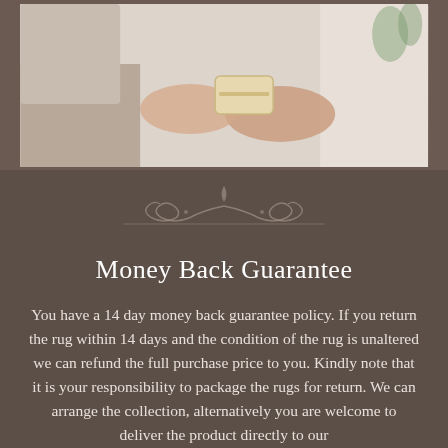[Figure (photo): A photo of two hands exchanging a credit card, with a laptop and plant visible in the background. Warm, light-toned indoor setting.]
[Figure (illustration): Decorative ornamental divider with scrollwork and a diamond/leaf shape in the center, on dark brown background.]
Money Back Guarantee
You have a 14 day money back guarantee policy. If you return the rug within 14 days and the condition of the rug is unaltered we can refund the full purchase price to you. Kindly note that it is your responsibility to package the rugs for return. We can arrange the collection, alternatively you are welcome to deliver the product directly to our